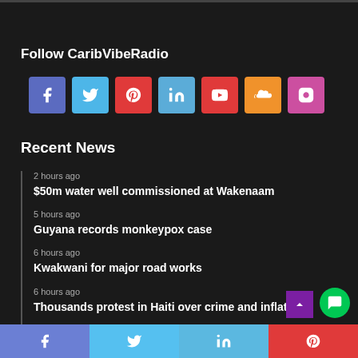Follow CaribVibeRadio
[Figure (infographic): Row of 7 social media icons: Facebook (purple-blue), Twitter (light blue), Pinterest (red), LinkedIn (blue), YouTube (red), SoundCloud (orange), Instagram (purple)]
Recent News
2 hours ago
$50m water well commissioned at Wakenaam
5 hours ago
Guyana records monkeypox case
6 hours ago
Kwakwani for major road works
6 hours ago
Thousands protest in Haiti over crime and inflation
Facebook | Twitter | LinkedIn | Pinterest | Chat